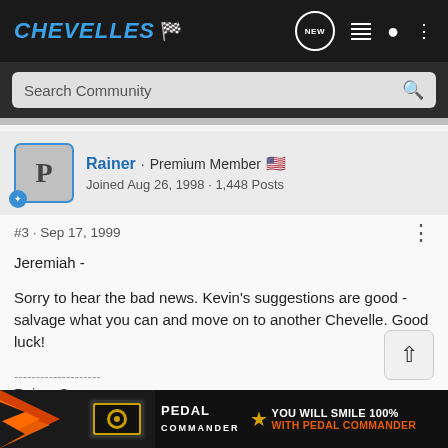CHEVELLES - NEW
Search Community
Rainer · Premium Member 🇺🇸
Joined Aug 26, 1998 · 1,448 Posts
#3 · Sep 17, 1999
Jeremiah -

Sorry to hear the bad news. Kevin's suggestions are good - salvage what you can and move on to another Chevelle. Good luck!
--------------------
Rainer S
Vancouver
[Figure (screenshot): Pedal Commander advertisement banner: orange/black graphic with rocket graphic and text 'PEDAL COMMANDER - YOU WILL SMILE 100% WITH PEDAL COMMANDER']